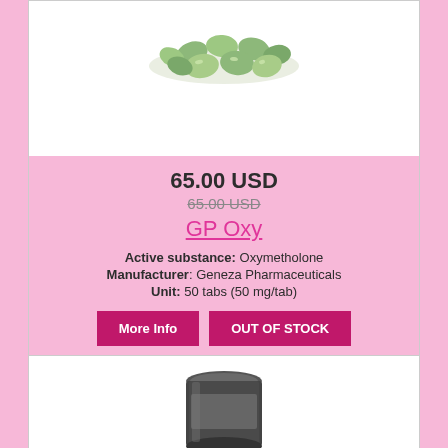[Figure (photo): Green heart-shaped pills/tablets scattered in a pile on white background]
65.00 USD
65.00 USD (strikethrough)
GP Oxy
Active substance: Oxymetholone
Manufacturer: Geneza Pharmaceuticals
Unit: 50 tabs (50 mg/tab)
More Info
OUT OF STOCK
[Figure (photo): Dark cylindrical container/bottle visible at bottom of second product card]